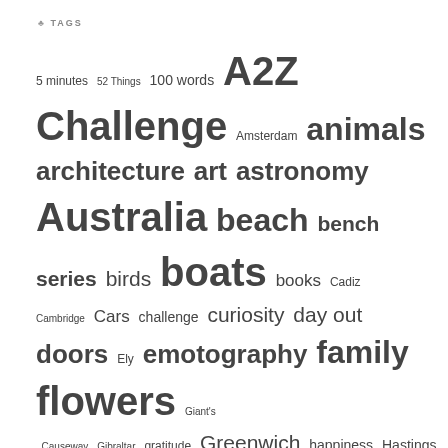TAGS
5 minutes 52 Things 100 words A2Z Challenge Amsterdam animals architecture art astronomy Australia beach bench series birds boats books Cadiz Cambridge Cars challenge curiosity day out doors Ely emotography family flowers Giant's Causeway Gibraltar gratitude Greenwich happiness Hastings history Hobart holiday home in 1985 India insomnia Ireland Life with Covid-19 London Maastricht macro Margate me Melbourne music Netherlands New Zealand our garden people photos Pull up a Seat quotes Rediscover Tasmania Scotland seasons Seville sky Spain squareodds still life Sydney Tasmania time